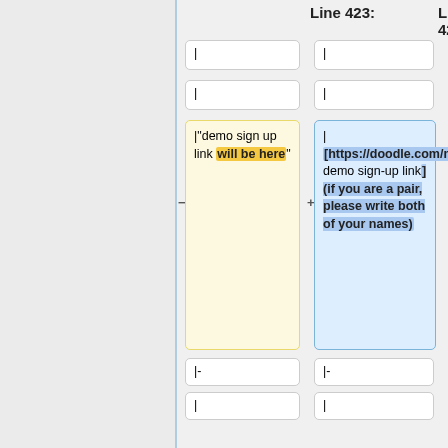Line 423:
Line 424:
|
|
|
|
|"demo sign up link will be here"
| [https://doodle.com/meeting/participate/id/aADkXXPe demo sign-up link] (if you are a pair, please write both of your names)
|-
|-
|
|
|May 19-26
|May 19
|FINAL EXAMS
|FINAL EXAM, 1-3 pm, Gore 304